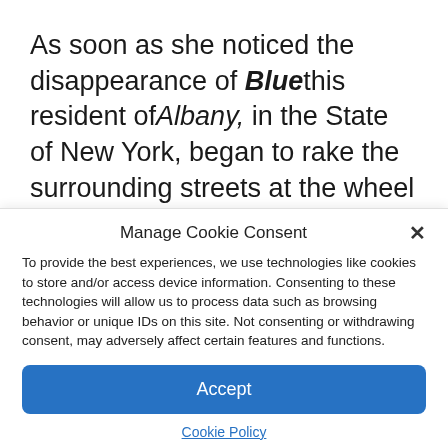As soon as she noticed the disappearance of Bluethis resident of Albany, in the State of New York, began to rake the surrounding streets at the wheel of her car. She stopped to ask passers-by if they had seen her 4-legged friend, but no one seemed to have seen him.
Manage Cookie Consent
To provide the best experiences, we use technologies like cookies to store and/or access device information. Consenting to these technologies will allow us to process data such as browsing behavior or unique IDs on this site. Not consenting or withdrawing consent, may adversely affect certain features and functions.
Accept
Cookie Policy